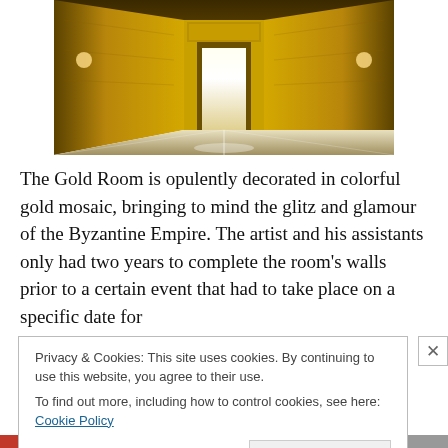[Figure (photo): Interior of the Gold Room showing ornate gold mosaic-covered walls, tall murals, a central doorway with bright light beyond, decorative ceiling, and reflective marble floor.]
The Gold Room is opulently decorated in colorful gold mosaic, bringing to mind the glitz and glamour of the Byzantine Empire. The artist and his assistants only had two years to complete the room’s walls prior to a certain event that had to take place on a specific date for
Privacy & Cookies: This site uses cookies. By continuing to use this website, you agree to their use.
To find out more, including how to control cookies, see here: Cookie Policy
Close and accept